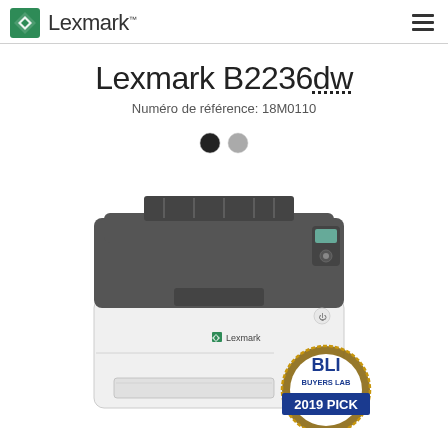[Figure (logo): Lexmark logo with green diamond icon and text 'Lexmark' with trademark symbol]
Lexmark B2236dw
Numéro de référence: 18M0110
[Figure (photo): Photo of Lexmark B2236dw monochrome laser printer in white/gray color, with BLI Buyers Lab 2019 Pick badge overlaid in bottom right corner. Two color swatches (black and gray) shown above the printer photo.]